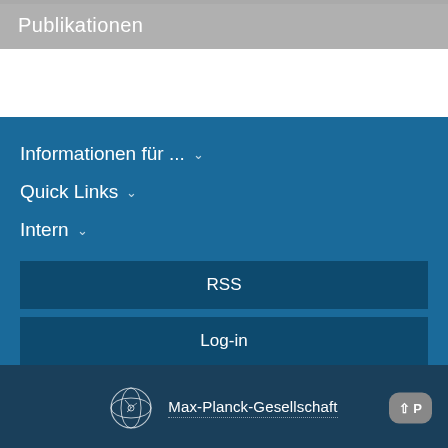Publikationen
Informationen für ... ∨
Quick Links ∨
Intern ∨
RSS
Log-in
Max-Planck-Gesellschaft